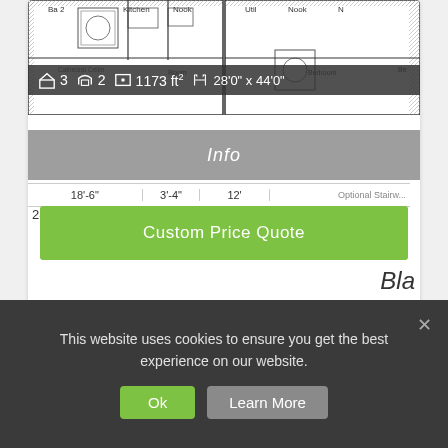[Figure (schematic): Floor plan architectural drawing showing rooms including Ba 2, Kitchen, Nook, Util, Bedroom areas with dimensions and layout lines]
3  2  1173 ft²  28'0" x 44'0"
Info
18'-6"  3'-4"  12'
Custom Price Quote
Bla
Offered by: Whispering Pines
NORTHWOOD / L27612
This website uses cookies to ensure you get the best experience on our website.
Ok
Learn More